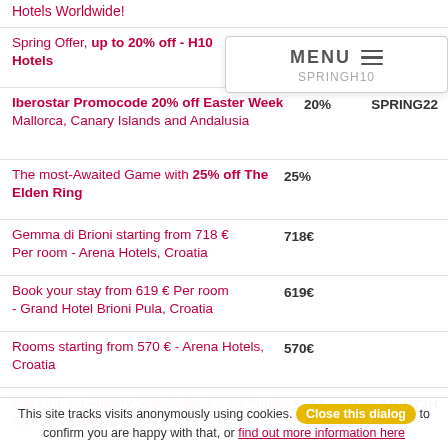Hotels Worldwide!
[Figure (screenshot): MENU overlay with hamburger icon and code SPRINGH10]
Spring Offer, up to 20% off - H10 Hotels | 20% | SPRINGH10
Iberostar Promocode 20% off Easter Week Mallorca, Canary Islands and Andalusia | 20% | SPRING22
The most-Awaited Game with 25% off The Elden Ring | 25%
Gemma di Brioni starting from 718 € Per room - Arena Hotels, Croatia | 718€
Book your stay from 619 € Per room - Grand Hotel Brioni Pula, Croatia | 619€
Rooms starting from 570 € - Arena Hotels, Croatia | 570€
69$ OFF on Artillery Sidewinder X2 3D Printer, 300*300*400mm | 567 $ | 6NVVMGH72H
Up to 500 Euro Off for Gaming... | 500 €
This site tracks visits anonymously using cookies. Close this dialog to confirm you are happy with that, or find out more information here